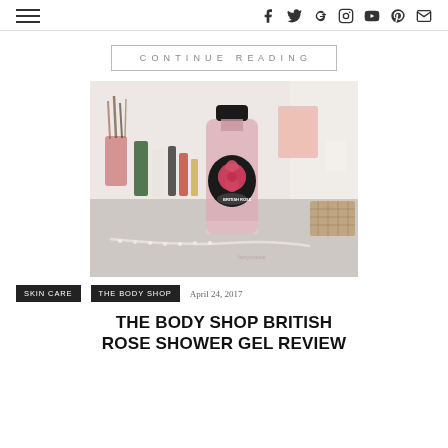Navigation menu and social icons: Facebook, Twitter, Google+, Instagram, YouTube, Pinterest, Email
CONTINUE READING
[Figure (photo): A bottle of The Body Shop British Rose Shower Gel on a light-colored surface, surrounded by beauty and makeup items in the background.]
SKIN CARE, THE BODY SHOP   April 24, 2017
THE BODY SHOP BRITISH ROSE SHOWER GEL REVIEW